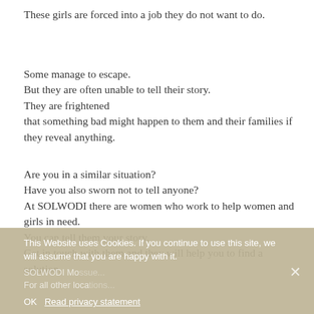These girls are forced into a job they do not want to do.
Some manage to escape.
But they are often unable to tell their story.
They are frightened
that something bad might happen to them and their families if they reveal anything.
Are you in a similar situation?
Have you also sworn not to tell anyone?
At SOLWODI there are women who work to help women and girls in need.
You can tell them your story.
Get in touch with them and they will help you to find a solution.
This Website uses Cookies. If you continue to use this site, we will assume that you are happy with it.
SOLWODI Mo...
For all other loca...
OK   Read privacy statement